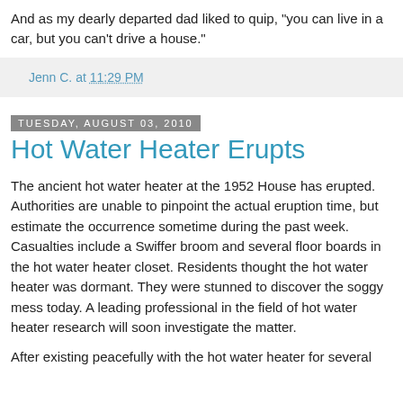And as my dearly departed dad liked to quip, "you can live in a car, but you can't drive a house."
Jenn C. at 11:29 PM
Tuesday, August 03, 2010
Hot Water Heater Erupts
The ancient hot water heater at the 1952 House has erupted. Authorities are unable to pinpoint the actual eruption time, but estimate the occurrence sometime during the past week. Casualties include a Swiffer broom and several floor boards in the hot water heater closet. Residents thought the hot water heater was dormant. They were stunned to discover the soggy mess today. A leading professional in the field of hot water heater research will soon investigate the matter.
After existing peacefully with the hot water heater for several